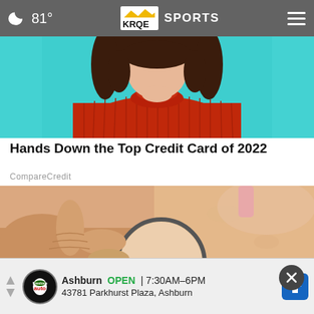🌙 81° | KRQE SPORTS
[Figure (photo): Woman in a red ribbed turtleneck sweater against a teal/turquoise background, photo cropped to show neck and shoulders]
Hands Down the Top Credit Card of 2022
CompareCredit
[Figure (photo): Close-up of a skin mole being examined through a magnifying glass, on a peach/skin-tone background]
[Figure (screenshot): Advertisement banner: Firestone Auto Care – Ashburn OPEN 7:30AM–6PM, 43781 Parkhurst Plaza, Ashburn]